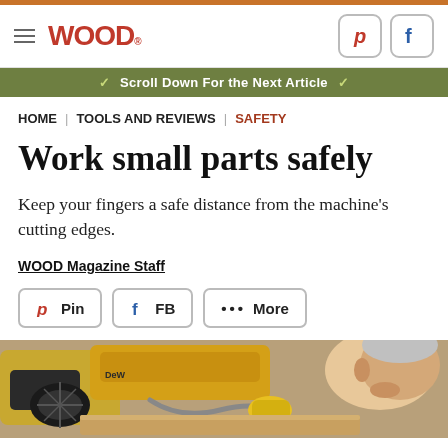WOOD Magazine — Header with hamburger menu, logo, Pinterest and Facebook icons
Scroll Down For the Next Article
HOME | TOOLS AND REVIEWS | SAFETY
Work small parts safely
Keep your fingers a safe distance from the machine's cutting edges.
WOOD Magazine Staff
Pin  FB  ••• More
[Figure (photo): A person using a power tool (yellow DeWalt band saw or scroll saw) on a piece of wood, holding a yellow piece near the blade.]